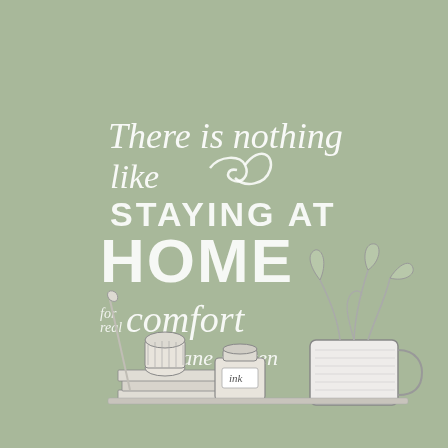[Figure (illustration): Decorative illustration on sage green background. Hand-lettered quote in white: 'There is nothing like STAYING AT HOME for real comfort — Jane Austen'. Below the text are sketched objects: an ink pot labeled 'ink', a thread spool, a quill/pen, a stack of books, and a large mug with a plant growing out of it.]